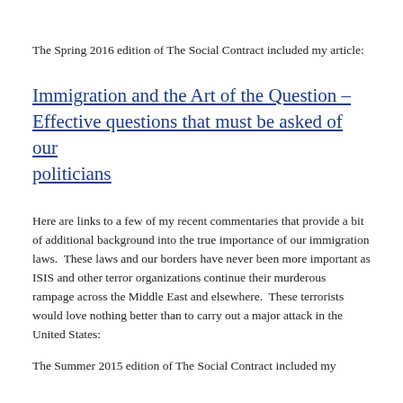The Spring 2016 edition of The Social Contract included my article:
Immigration and the Art of the Question – Effective questions that must be asked of our politicians
Here are links to a few of my recent commentaries that provide a bit of additional background into the true importance of our immigration laws.  These laws and our borders have never been more important as ISIS and other terror organizations continue their murderous rampage across the Middle East and elsewhere.  These terrorists would love nothing better than to carry out a major attack in the United States:
The Summer 2015 edition of The Social Contract included my